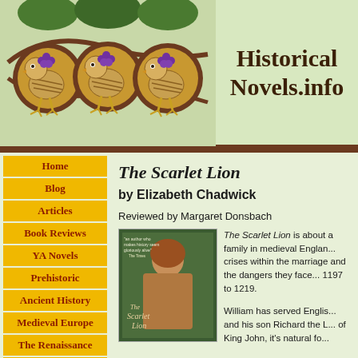[Figure (illustration): HistoricalNovels.info website header with decorative medieval-style birds illustration on left and site title on right]
Home
Blog
Articles
Book Reviews
YA Novels
Prehistoric
Ancient History
Medieval Europe
The Renaissance
17th Century
18th Century
Napoleonic E...
The Scarlet Lion
by Elizabeth Chadwick
Reviewed by Margaret Donsbach
[Figure (photo): Book cover of The Scarlet Lion showing a woman in medieval dress]
The Scarlet Lion is about a family in medieval England, crises within the marriage and the dangers they faced from 1197 to 1219.
William has served English kings and his son Richard the L... of King John, it's natural fo...